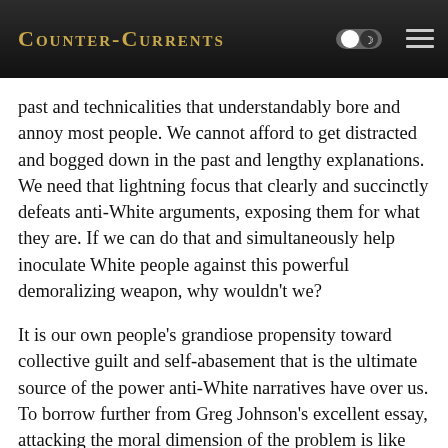Counter-Currents
past and technicalities that understandably bore and annoy most people. We cannot afford to get distracted and bogged down in the past and lengthy explanations. We need that lightning focus that clearly and succinctly defeats anti-White arguments, exposing them for what they are. If we can do that and simultaneously help inoculate White people against this powerful demoralizing weapon, why wouldn't we?
It is our own people's grandiose propensity toward collective guilt and self-abasement that is the ultimate source of the power anti-White narratives have over us. To borrow further from Greg Johnson's excellent essay, attacking the moral dimension of the problem is like hacking at the trunk of a tree, whereas revising historical narratives is akin to merely trimming the branches.